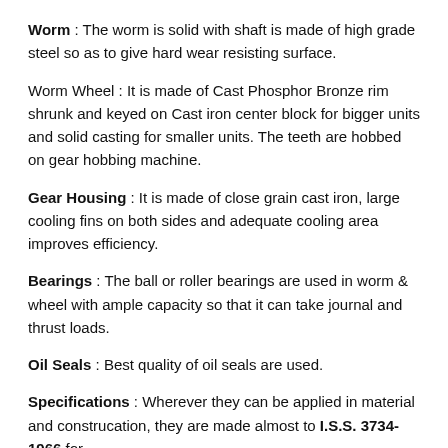Worm : The worm is solid with shaft is made of high grade steel so as to give hard wear resisting surface.
Worm Wheel : It is made of Cast Phosphor Bronze rim shrunk and keyed on Cast iron center block for bigger units and solid casting for smaller units. The teeth are hobbed on gear hobbing machine.
Gear Housing : It is made of close grain cast iron, large cooling fins on both sides and adequate cooling area improves efficiency.
Bearings : The ball or roller bearings are used in worm & wheel with ample capacity so that it can take journal and thrust loads.
Oil Seals : Best quality of oil seals are used.
Specifications : Wherever they can be applied in material and construcation, they are made almost to I.S.S. 3734-1966 for